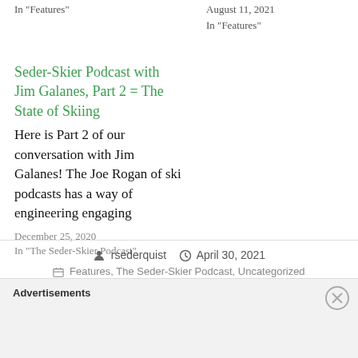In "Features"
August 11, 2021
In "Features"
Seder-Skier Podcast with Jim Galanes, Part 2 = The State of Skiing
Here is Part 2 of our conversation with Jim Galanes! The Joe Rogan of ski podcasts has a way of engineering engaging
December 25, 2020
In "The Seder-Skier Podcast"
rsederquist  April 30, 2021
Features, The Seder-Skier Podcast, Uncategorized
Advertisements